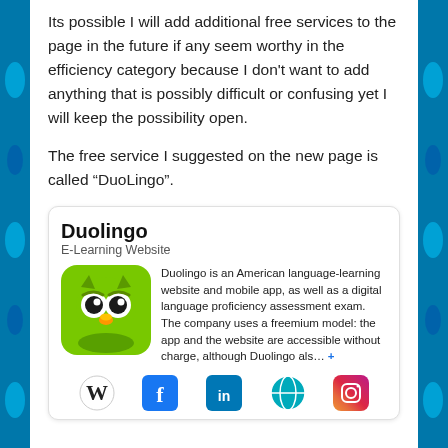Its possible I will add additional free services to the page in the future if any seem worthy in the efficiency category because I don't want to add anything that is possibly difficult or confusing yet I will keep the possibility open.
The free service I suggested on the new page is called “DuoLingo”.
[Figure (infographic): Duolingo info card with logo, description, and social media icons. Title: Duolingo. Subtitle: E-Learning Website. Description: Duolingo is an American language-learning website and mobile app, as well as a digital language proficiency assessment exam. The company uses a freemium model: the app and the website are accessible without charge, although Duolingo als... +. Icons: Wikipedia, Facebook, LinkedIn, Globe/Website, Instagram.]